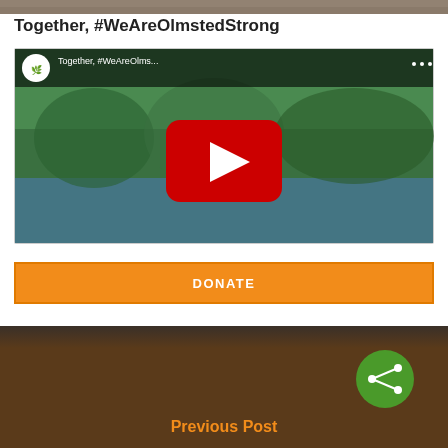[Figure (photo): Top cropped image strip showing people or a scene, partially visible at the top of the page]
Together, #WeAreOlmstedStrong
[Figure (screenshot): YouTube video embed thumbnail showing 'Together, #WeAreOlms...' video from Olmsted Parks Conservancy, with a park/nature aerial background, red YouTube play button in the center, and the channel logo in the top-left corner]
DONATE
Previous Post